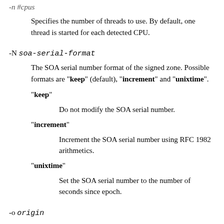-n #cpus
Specifies the number of threads to use. By default, one thread is started for each detected CPU.
-N soa-serial-format
The SOA serial number format of the signed zone. Possible formats are "keep" (default), "increment" and "unixtime".
"keep"
Do not modify the SOA serial number.
"increment"
Increment the SOA serial number using RFC 1982 arithmetics.
"unixtime"
Set the SOA serial number to the number of seconds since epoch.
-o origin